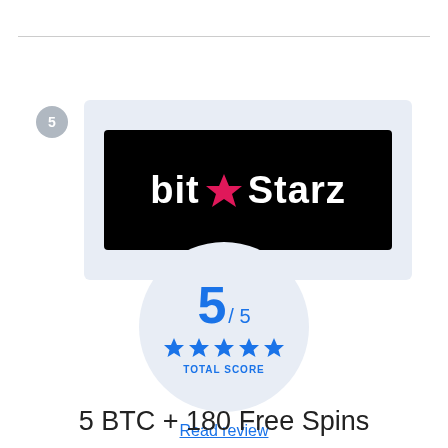[Figure (logo): BitStarz casino logo — white text 'bit★Starz' on black background, inside a light blue rounded rectangle container. Number badge '5' in grey circle on the left.]
[Figure (infographic): Score circle showing 5/5 rating with 5 blue stars and 'TOTAL SCORE' label]
Read review
5 BTC + 180 Free Spins